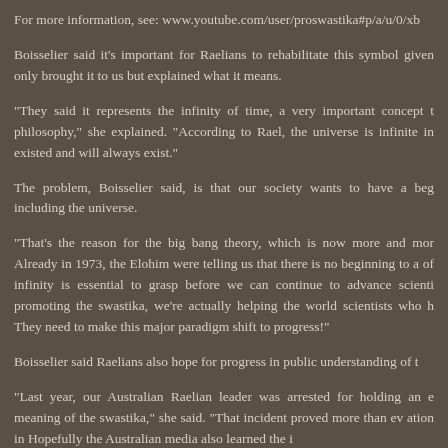For more information, see: www.youtube.com/user/proswastika#p/a/u/0/xb
Boisselier said it’s important for Raelians to rehabilitate this symbol given only brought it to us but explained what it means.
“They said it represents the infinity of time, a very important concept t philosophy,” she explained. “According to Rael, the universe is infinite in existed and will always exist.”
The problem, Boisselier said, is that our society wants to have a beg including the universe.
“That’s the reason for the big bang theory, which is now more and mor Already in 1973, the Elohim were telling us that there is no beginning to a of infinity is essential to grasp before we can continue to advance scienti promoting the swastika, we’re actually helping the world scientists who h They need to make this major paradigm shift to progress!”
Boisselier said Raelians also hope for progress in public understanding of t
“Last year, our Australian Raelian leader was arrested for holding an e meaning of the swastika,” she said. “That incident proved more than ev ation in Hopefully the Australian media also learned the i